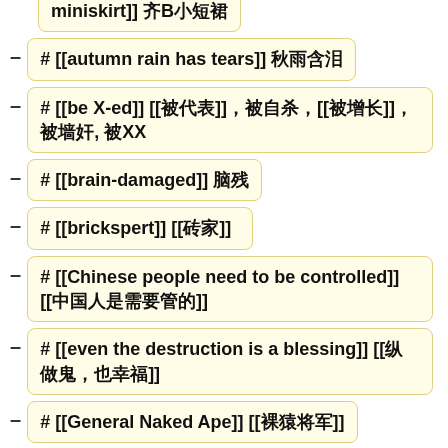miniskirt]] 齐B小短裙
# [[autumn rain has tears]] 秋雨含泪
# [[be X-ed]] [[被代表]], 被自杀, [[被增长]], 被墙奸, 被XX
# [[brain-damaged]] 脑残
# [[brickspert]] [[砖家]]
# [[Chinese people need to be controlled]] [[中国人是需要管的]]
# [[even the destruction is a blessing]] [[纵做鬼，也幸福]]
# [[General Naked Ape]] [[裸猿将军]]